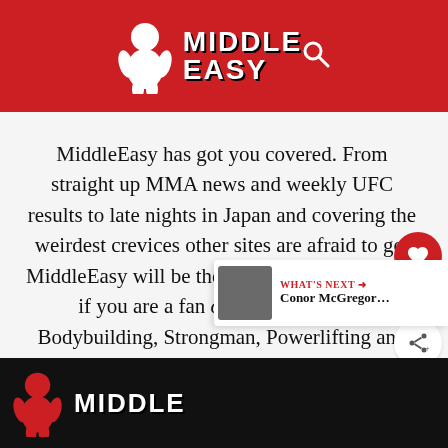MiddleEasy
MiddleEasy has got you covered. From straight up MMA news and weekly UFC results to late nights in Japan and covering the weirdest crevices other sites are afraid to go, MiddleEasy will be there waiting for you. And if you are a fan of strength sports: Bodybuilding, Strongman, Powerlifting and CrossFit visit our friends at FitnessVolt.com
MIDDLE